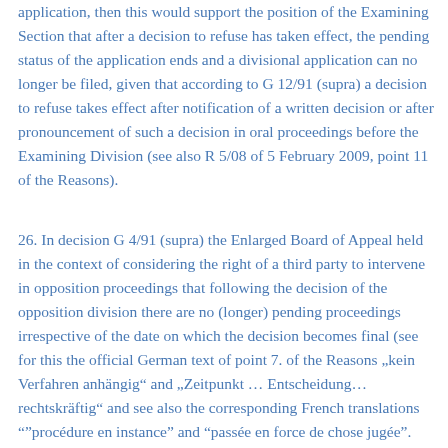application, then this would support the position of the Examining Section that after a decision to refuse has taken effect, the pending status of the application ends and a divisional application can no longer be filed, given that according to G 12/91 (supra) a decision to refuse takes effect after notification of a written decision or after pronouncement of such a decision in oral proceedings before the Examining Division (see also R 5/08 of 5 February 2009, point 11 of the Reasons).
26. In decision G 4/91 (supra) the Enlarged Board of Appeal held in the context of considering the right of a third party to intervene in opposition proceedings that following the decision of the opposition division there are no (longer) pending proceedings irrespective of the date on which the decision becomes final (see for this the official German text of point 7. of the Reasons „kein Verfahren anhängig“ and „Zeitpunkt … Entscheidung…rechtskräftig“ and see also the corresponding French translations “”procédure en instance” and “passée en force de chose jugée”. Insofar the translation of the cited passages into English reading “proceedings in existence” and “date… decision…has effect” seems to be broader than the German and French texts.